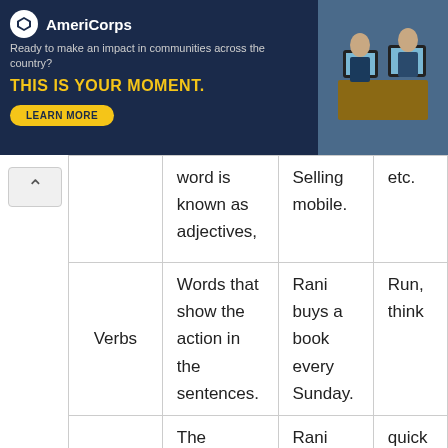[Figure (other): AmeriCorps advertisement banner: dark navy background with AmeriCorps logo, text 'Ready to make an impact in communities across the country? THIS IS YOUR MOMENT.' with a yellow LEARN MORE button, and a photo of students at computers on the right side.]
|  | Definition | Example | Words |
| --- | --- | --- | --- |
|  | word is known as adjectives, | Selling mobile. | etc. |
| Verbs | Words that show the action in the sentences. | Rani buys a book every Sunday. | Run, think |
| Adverbs | The answering words add meaning to verbs. | Rani paid the bill easily. | quick easily befor past |